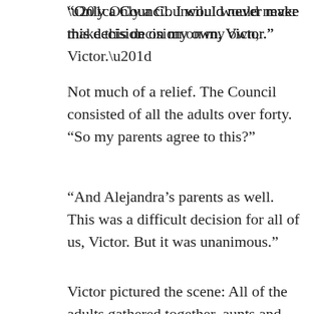“Only a Council. I would never make this decision on my own, Victor.”
Not much of a relief. The Council consisted of all the adults over forty. “So my parents agree to this?”
“And Alejandra’s parents as well. This was a difficult decision for all of us, Victor. But it was unanimous.”
Victor pictured the scene: All of the adults gathered together, aunts and uncles and grandparents, people he knew and loved and respected, people whose opinion he valued, people who had always looked upon him fondly